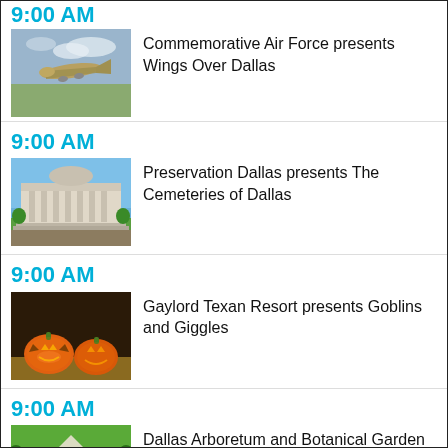9:00 AM
[Figure (photo): WWII-era military aircraft flying through cloudy sky]
Commemorative Air Force presents Wings Over Dallas
9:00 AM
[Figure (photo): Large neoclassical government or civic building with green lawn]
Preservation Dallas presents The Cemeteries of Dallas
9:00 AM
[Figure (photo): Carved Halloween jack-o-lantern pumpkins with orange glow]
Gaylord Texan Resort presents Goblins and Giggles
9:00 AM
[Figure (photo): Autumn floral garden display with ornamental plants]
Dallas Arboretum and Botanical Garden presents Autumn at the